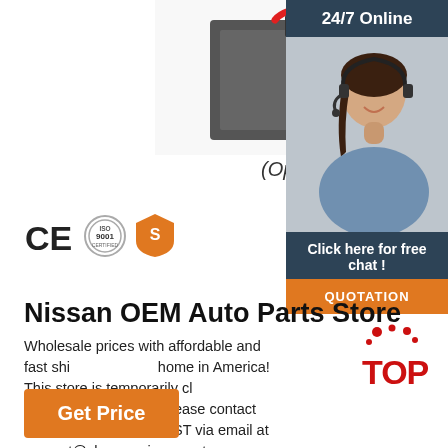[Figure (photo): Product photo of an electrical component (battery charger or similar device) with red wires, shown from above on white background]
(Optional)
[Figure (logo): CE mark, ISO 9001 certification badge, and a gold shield/supplier badge certification icons]
[Figure (photo): 24/7 Online customer service banner with smiling female headset operator on dark blue background, and QUOTATION orange button]
Nissan OEM Auto Parts Store
Wholesale prices with affordable and fast shipping to your home in America! This store is temporarily closed. For additional assistance please contact VICTORY NISSAN WEST via email at support@cheapernissanparts.com or by calling (888) 473-5663.
[Figure (logo): TOP back-to-top icon with red dots]
Get Price